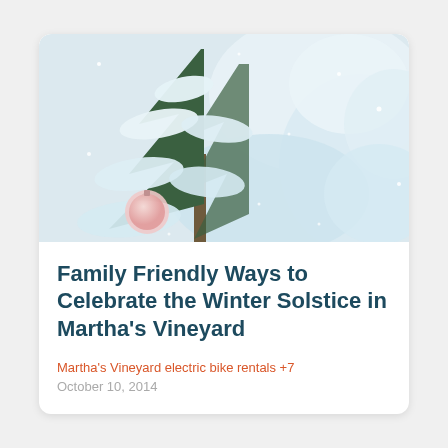[Figure (photo): Snow-covered evergreen tree branches with a pink Christmas ornament visible on the left, white snowy background, winter scene]
Family Friendly Ways to Celebrate the Winter Solstice in Martha's Vineyard
Martha's Vineyard electric bike rentals +7
October 10, 2014